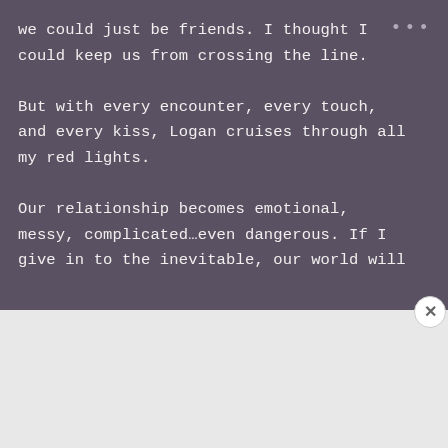we could just be friends. I thought I could keep us from crossing the line.

But with every encounter, every touch, and every kiss, Logan cruises through all my red lights.

Our relationship becomes emotional, messy, complicated…even dangerous. If I give in to the inevitable, our world will
[Figure (screenshot): DuckDuckGo advertisement banner with orange background. Text: 'Search, browse, and email with more privacy. All in One Free App' with a phone mockup showing the DuckDuckGo app and logo.]